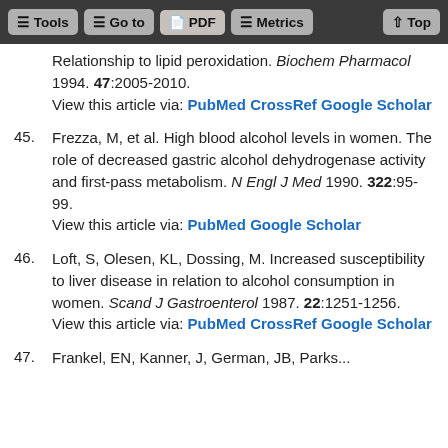Tools | Go to | PDF | Metrics | Top
Relationship to lipid peroxidation. Biochem Pharmacol 1994. 47:2005-2010.
View this article via: PubMed CrossRef Google Scholar
45. Frezza, M, et al. High blood alcohol levels in women. The role of decreased gastric alcohol dehydrogenase activity and first-pass metabolism. N Engl J Med 1990. 322:95-99.
View this article via: PubMed Google Scholar
46. Loft, S, Olesen, KL, Dossing, M. Increased susceptibility to liver disease in relation to alcohol consumption in women. Scand J Gastroenterol 1987. 22:1251-1256.
View this article via: PubMed CrossRef Google Scholar
47. Frankel, EN, Kanner, J, German, JB, Parks...